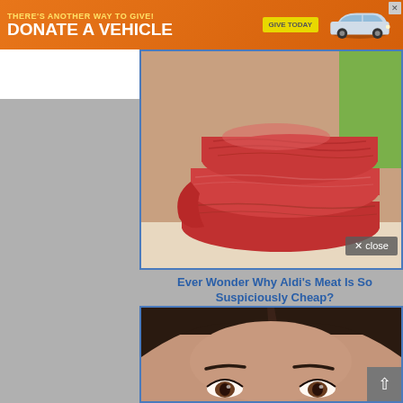[Figure (infographic): Orange ad banner: 'THERE'S ANOTHER WAY TO GIVE! DONATE A VEHICLE' with yellow 'GIVE TODAY' button and car image, with X close button top right]
[Figure (photo): Close-up photo of raw red meat (beef) stacked on a surface with a green background, with a dark semi-transparent 'x close' button overlay in lower-right corner]
Ever Wonder Why Aldi's Meat Is So Suspiciously Cheap?
[Figure (photo): Photo of a woman's face (brown hair pulled back, brown eyes) cropped to show forehead and eyes, with a scroll-to-top arrow button in lower-right corner]